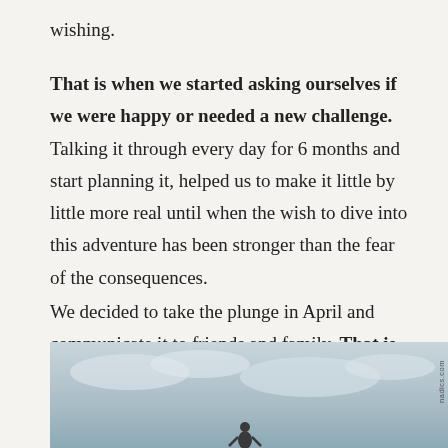wishing.
That is when we started asking ourselves if we were happy or needed a new challenge. Talking it through every day for 6 months and start planning it, helped us to make it little by little more real until when the wish to dive into this adventure has been stronger than the fear of the consequences.
We decided to take the plunge in April and communicate it to friends and family. That is when it became real.
[Figure (photo): Outdoor photo with overcast sky, a person silhouette visible at the bottom center, watermark text 'nadics.com' along the right edge]